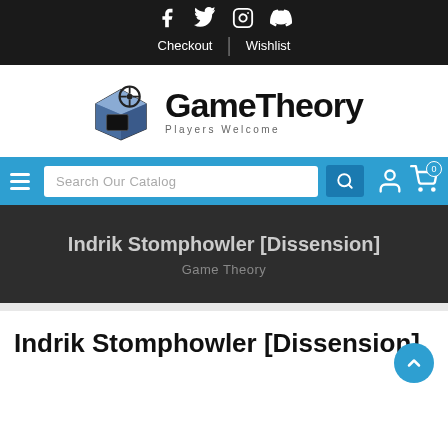Checkout | Wishlist
[Figure (logo): GameTheory logo with blue cube and steering wheel icon, text 'GameTheory' and tagline 'Players Welcome']
Search Our Catalog
Indrik Stomphowler [Dissension]
Game Theory
Indrik Stomphowler [Dissension]